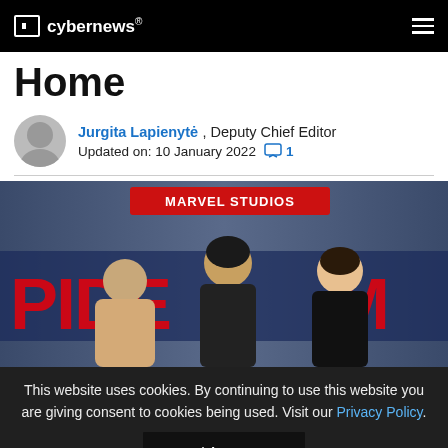cybernews®
Home
Jurgita Lapienytė , Deputy Chief Editor
Updated on: 10 January 2022   1
[Figure (photo): Three people posing in front of a Spider-Man Marvel Studios banner backdrop. Three cast members at a Spider-Man premiere event.]
This website uses cookies. By continuing to use this website you are giving consent to cookies being used. Visit our Privacy Policy.
I Agree